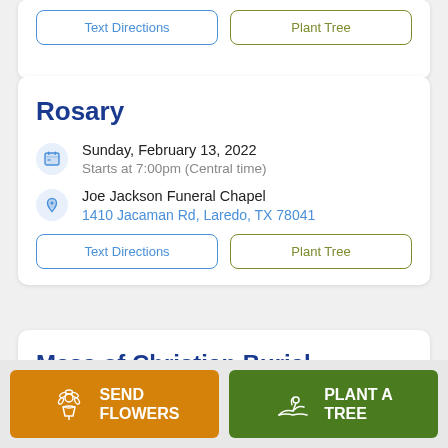Text Directions | Plant Tree
Rosary
Sunday, February 13, 2022
Starts at 7:00pm (Central time)
Joe Jackson Funeral Chapel
1410 Jacaman Rd, Laredo, TX 78041
Text Directions | Plant Tree
Mass of Christian Burial
Monday, February 14, 2022
SEND FLOWERS
PLANT A TREE